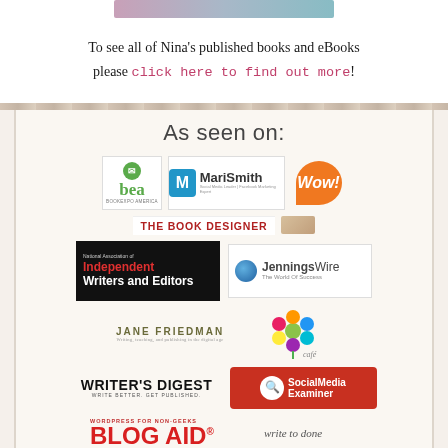[Figure (photo): Top portion of an image, partially cropped at top of page]
To see all of Nina's published books and eBooks please click here to find out more!
As seen on:
[Figure (logo): Grid of logos: BEA BookExpo America, MariSmith Social Media, WOW! Women on Writing, The Book Designer, National Association of Independent Writers and Editors, JenningsWire The World Of Success, Jane Friedman, colorful art/flower logo, Writer's Digest, Social Media Examiner, WordPress for Non-Geeks Blog Aid, write to done]